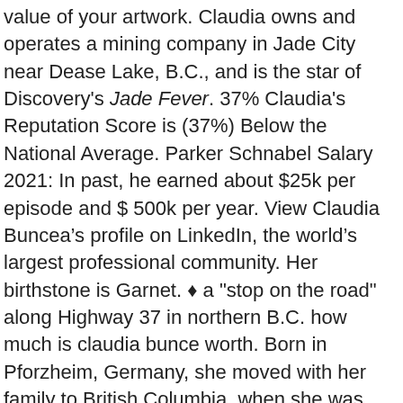value of your artwork. Claudia owns and operates a mining company in Jade City near Dease Lake, B.C., and is the star of Discovery's Jade Fever. 37% Claudia's Reputation Score is (37%) Below the National Average. Parker Schnabel Salary 2021: In past, he earned about $25k per episode and $ 500k per year. View Claudia Buncea’s profile on LinkedIn, the world’s largest professional community. Her birthstone is Garnet. ♦ a "stop on the road" along Highway 37 in northern B.C. how much is claudia bunce worth. Born in Pforzheim, Germany, she moved with her family to British Columbia, when she was very young. ET), Discovery welcomed the show's stars, miners Claudia Bunce and her son Joshua, to Toronto for a press junket.Together they spoke with press about the forthcoming season, which is expected to be JADE FEVER's